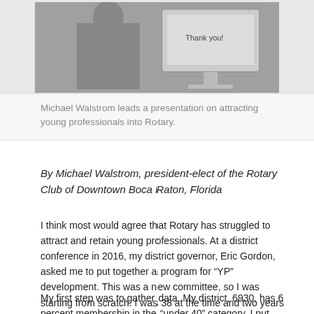[Figure (photo): Black and white photo of Michael Walstrom leading a presentation, standing at a podium with a monitor displaying 'thank you' visible behind him.]
Michael Walstrom leads a presentation on attracting young professionals into Rotary.
By Michael Walstrom, president-elect of the Rotary Club of Downtown Boca Raton, Florida
I think most would agree that Rotary has struggled to attract and retain young professionals. At a district conference in 2016, my district governor, Eric Gordon, asked me to put together a program for “YP” development. This was a new committee, so I was starting from scratch. I was 38 at the time and two years into my Rotary journey. The only thing I really knew was that I had a lot to learn.
My first step was to gather data. My district, 6930, has 6 percent membership in the “under 40” category. I put together a survey of ten questions designed to target...